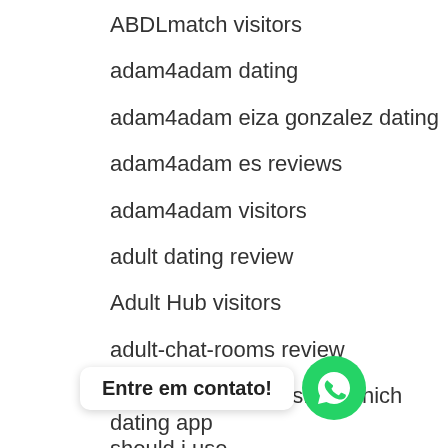ABDLmatch visitors
adam4adam dating
adam4adam eiza gonzalez dating
adam4adam es reviews
adam4adam visitors
adult dating review
Adult Hub visitors
adult-chat-rooms review
adultdatingwebsites.net which dating app should i use
Adultfriendfinder co je
adultfriendfinder … in anyone
adultfriendfinder nord dating app